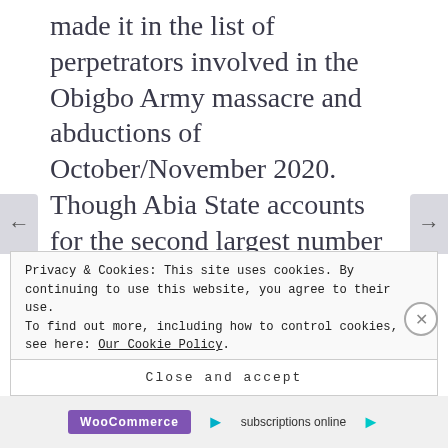made it in the list of perpetrators involved in the Obigbo Army massacre and abductions of October/November 2020. Though Abia State accounts for the second largest number of casualties and destroyed or burnt properties perpetrated by security forces, but Intersociety did not find sufficient evidence linking its Governor, Victor Ikpeazu to the conduct atrocities.
Privacy & Cookies: This site uses cookies. By continuing to use this website, you agree to their use.
To find out more, including how to control cookies, see here: Our Cookie Policy.
Close and accept
WooCommerce subscriptions online